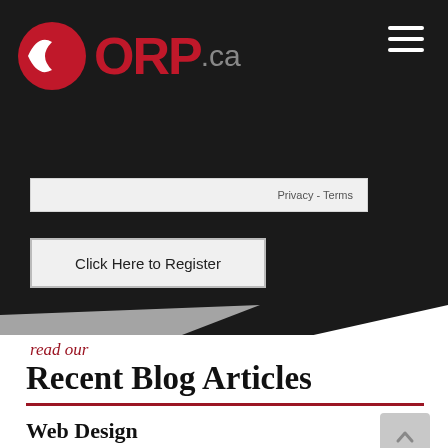ORP.ca
Privacy - Terms
Click Here to Register
read our
Recent Blog Articles
Web Design